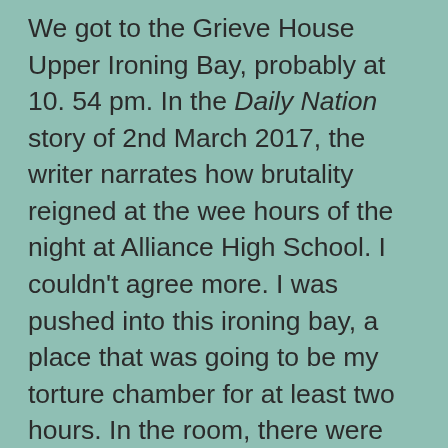We got to the Grieve House Upper Ironing Bay, probably at 10. 54 pm. In the Daily Nation story of 2nd March 2017, the writer narrates how brutality reigned at the wee hours of the night at Alliance High School. I couldn't agree more. I was pushed into this ironing bay, a place that was going to be my torture chamber for at least two hours. In the room, there were other fourteen students, most of them my fellow form twos, at that time serving as shadow committee Ernest Lango the one who had added salt to the wound was conspicuously present. It is as if I was thrown into a den of starving lions, because no sooner had I been